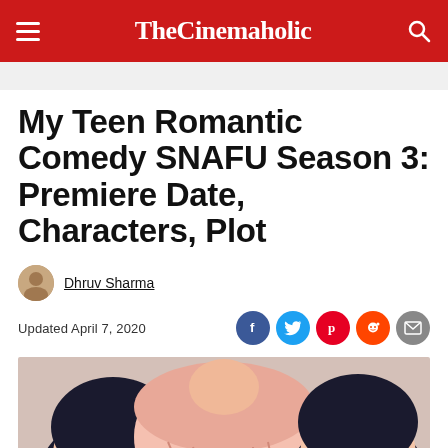TheCinemaholic
My Teen Romantic Comedy SNAFU Season 3: Premiere Date, Characters, Plot
Dhruv Sharma
Updated April 7, 2020
[Figure (photo): Anime characters from My Teen Romantic Comedy SNAFU — three characters with dark hair shown up close, faces near each other]